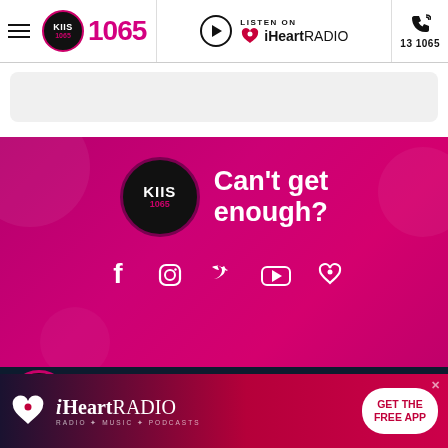[Figure (screenshot): KIIS 1065 radio station website navigation bar with hamburger menu, logo, Listen on iHeartRadio button, and 13 1065 phone number]
[Figure (screenshot): Pink promotional banner with KIIS 1065 logo, 'Can't get enough?' text, and social media icons for Facebook, Instagram, Twitter, YouTube, and iHeartRadio]
ABOUT US
READ
Contact Us
Celeb
Complaints
Life
[Figure (screenshot): iHeartRadio GET THE FREE APP advertisement banner at bottom]